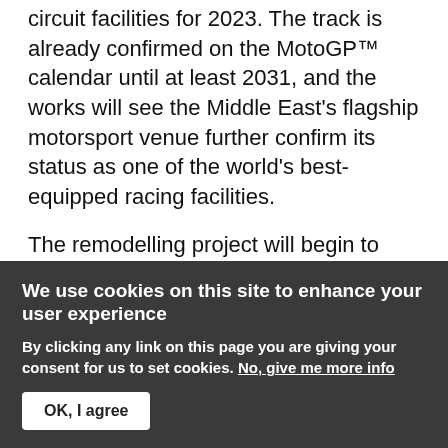circuit facilities for 2023. The track is already confirmed on the MotoGP™ calendar until at least 2031, and the works will see the Middle East's flagship motorsport venue further confirm its status as one of the world's best-equipped racing facilities.
The remodelling project will begin to take shape in 2022 and will see various areas redeveloped to create an even better experience for all those racing at and visiting the venue, from riders and teams to fans and guests. That includes new areas for spectators, establishing Lusail as a truly state-of-the-art, cutting edge racetrack.
We use cookies on this site to enhance your user experience
By clicking any link on this page you are giving your consent for us to set cookies. No, give me more info
OK, I agree